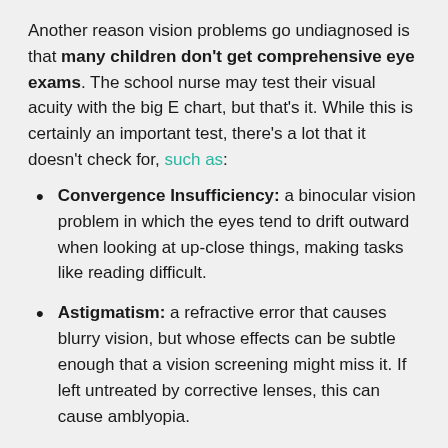Another reason vision problems go undiagnosed is that many children don't get comprehensive eye exams. The school nurse may test their visual acuity with the big E chart, but that's it. While this is certainly an important test, there's a lot that it doesn't check for, such as:
Convergence Insufficiency: a binocular vision problem in which the eyes tend to drift outward when looking at up-close things, making tasks like reading difficult.
Astigmatism: a refractive error that causes blurry vision, but whose effects can be subtle enough that a vision screening might miss it. If left untreated by corrective lenses, this can cause amblyopia.
Strabismus: misalignment of the eyes where they turn in, out, up, or down. Untreated strabismus can also cause amblyopia, but it can be corrected by patching, specially designed glasses, or sometimes surgery: